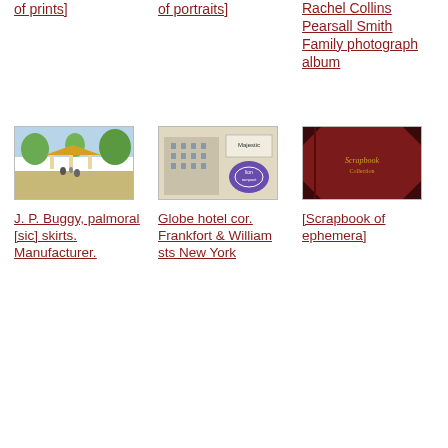of prints]
of portraits]
Rachel Collins Pearsall Smith Family photograph album
[Figure (photo): Thumbnail image of J. P. Buggy palmoral skirts, showing an outdoor scene with a pavilion and trees]
J. P. Buggy, palmoral [sic] skirts. Manufacturer.
[Figure (photo): Thumbnail image of Globe hotel at corner of Frankfort and William streets New York, showing a tall building and a small purple label]
Globe hotel cor. Frankfort & William sts New York
[Figure (photo): Thumbnail image of a red scrapbook cover with gold lettering]
[Scrapbook of ephemera]